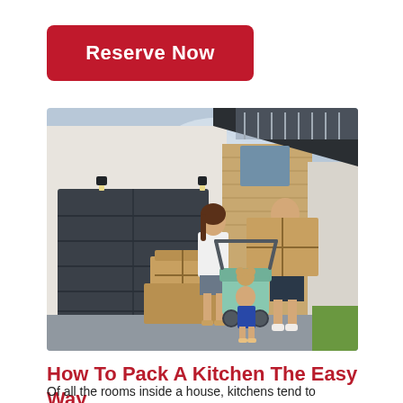Reserve Now
[Figure (photo): Family of three (mother, father, and young child) standing outside a modern house with moving boxes. Father carries a large cardboard box, mother stands next to a stroller with a large box on the ground, child touches a stuffed animal in the stroller. House has a dark garage door and wood-panel siding.]
How To Pack A Kitchen The Easy Way
Of all the rooms inside a house, kitchens tend to